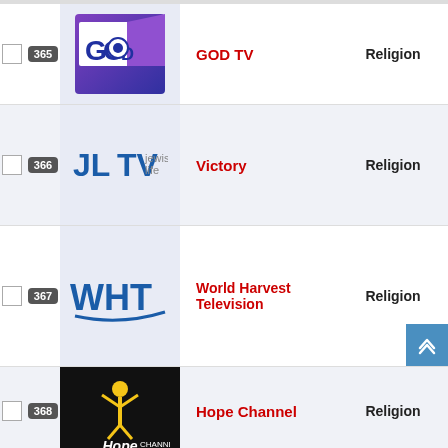|  | Ch | Logo | Channel Name | Genre |
| --- | --- | --- | --- | --- |
| ☐ | 365 | GOD TV logo | GOD TV | Religion |
| ☐ | 366 | JLTV Jewish Life logo | Victory | Religion |
| ☐ | 367 | WHT logo | World Harvest Television | Religion |
| ☐ | 368 | Hope Channel logo | Hope Channel | Religion |